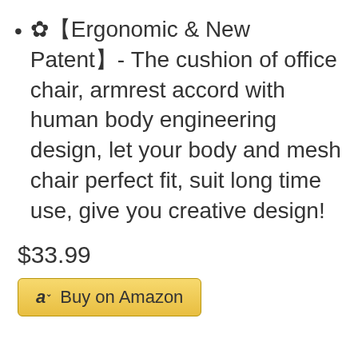✿【Ergonomic & New Patent】- The cushion of office chair, armrest accord with human body engineering design, let your body and mesh chair perfect fit, suit long time use, give you creative design!
$33.99
[Figure (other): Buy on Amazon button with Amazon logo]